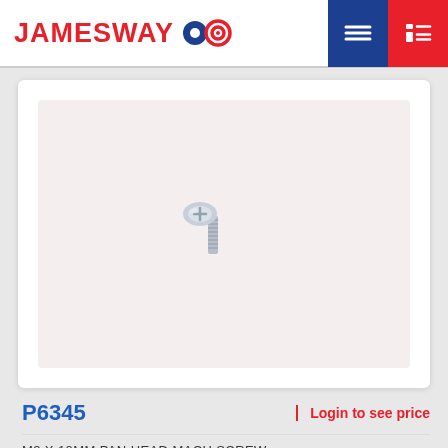JAMESWAY
[Figure (photo): A small M2 x 10mm pan head machine screw shown against a light pinkish-white background. The screw is silver/zinc-plated with a Phillips head drive, photographed at an angle showing the round pan head and threaded shank.]
P6345
Login to see price
M2 X 10MM PAN HEAD MACH SCREW